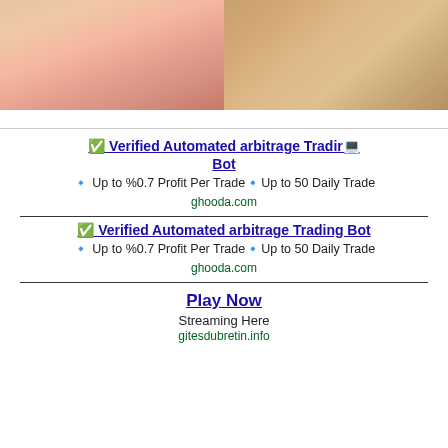[Figure (photo): Two adult content images side by side at top of page]
✅ Verified Automated arbitrage Trading Bot
🔹 Up to %0.7 Profit Per Trade🔹Up to 50 Daily Trade
ghooda.com
✅ Verified Automated arbitrage Trading Bot
🔹 Up to %0.7 Profit Per Trade🔹Up to 50 Daily Trade
ghooda.com
Play Now
Streaming Here
gitesdubretin.info